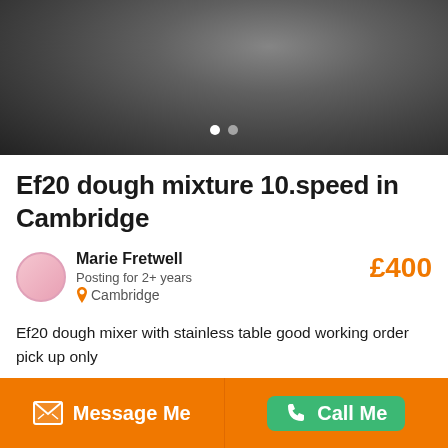[Figure (photo): Close-up photograph of a dark grey metallic dough mixer machine component, showing industrial metal parts with bolts and curves against a dark background.]
Ef20 dough mixture 10.speed in Cambridge
Marie Fretwell
Posting for 2+ years
Cambridge
£400
Ef20 dough mixer with stainless table good working order pick up only
Ad ID: 37832966    Posted: 13 weeks ago
Message Me    Call Me